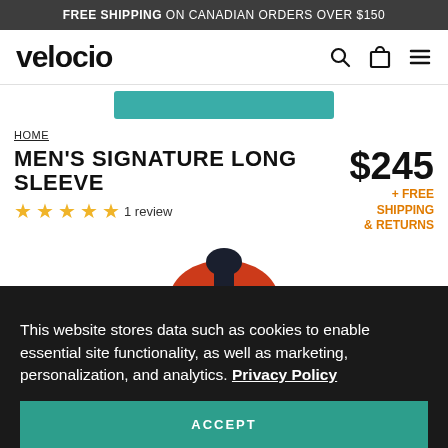FREE SHIPPING ON CANADIAN ORDERS OVER $150
[Figure (logo): Velocio logo in stylized lowercase letters]
HOME
MEN'S SIGNATURE LONG SLEEVE
★★★★★ 1 review
$245 + FREE SHIPPING & RETURNS
[Figure (photo): Partial view of an orange and dark navy cycling jersey]
This website stores data such as cookies to enable essential site functionality, as well as marketing, personalization, and analytics. Privacy Policy
ACCEPT
DENY